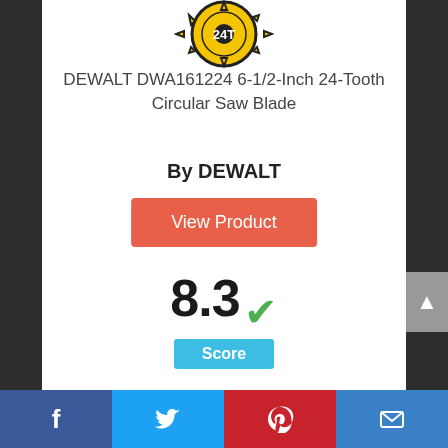[Figure (logo): DEWALT circular saw blade logo badge at top of card]
DEWALT DWA161224 6-1/2-Inch 24-Tooth Circular Saw Blade
By DEWALT
View Product
8.3 ✓
Score
[Figure (infographic): Circular blue ring badge showing number 6 at bottom of page]
Facebook | Twitter | Pinterest | Email share bar